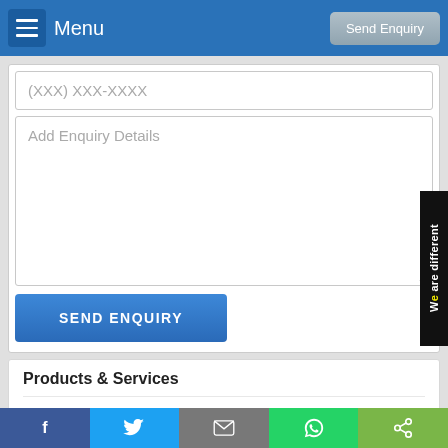Menu | Send Enquiry
(XXX) XXX-XXXX
Add Enquiry Details
SEND ENQUIRY
Products & Services
Cannabis Dispensary
Cannabis Distributor
We are different
f  Twitter  Mail  WhatsApp  Share